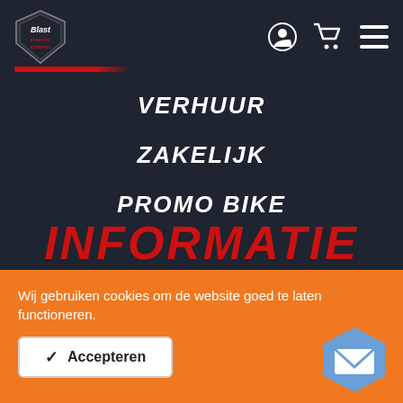[Figure (logo): Blast electric scooter shield logo with red bar below]
[Figure (infographic): Header icons: user account circle, shopping cart, hamburger menu]
VERHUUR
ZAKELIJK
PROMO BIKE
INFORMATIE
Wij gebruiken cookies om de website goed te laten functioneren.
Accepteren
[Figure (infographic): Blue hexagon mail/envelope icon]